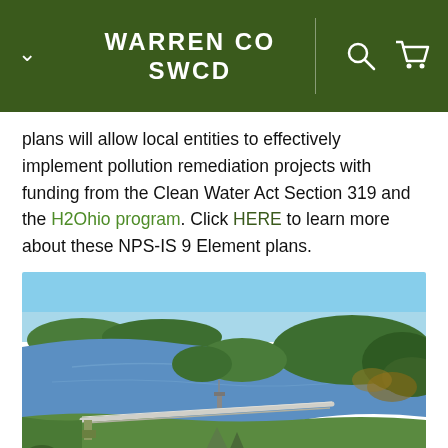WARREN CO SWCD
plans will allow local entities to effectively implement pollution remediation projects with funding from the Clean Water Act Section 319 and the H2Ohio program. Click HERE to learn more about these NPS-IS 9 Element plans.
[Figure (photo): Aerial view of a large reservoir or lake surrounded by dense green trees and forest, with a dam structure visible in the foreground, a road running alongside it, and a small bridge or intake tower in the water.]